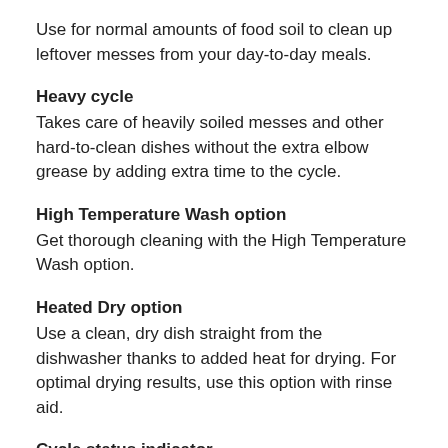Use for normal amounts of food soil to clean up leftover messes from your day-to-day meals.
Heavy cycle
Takes care of heavily soiled messes and other hard-to-clean dishes without the extra elbow grease by adding extra time to the cycle.
High Temperature Wash option
Get thorough cleaning with the High Temperature Wash option.
Heated Dry option
Use a clean, dry dish straight from the dishwasher thanks to added heat for drying. For optimal drying results, use this option with rinse aid.
Cycle status indicator
The full lit display glows for wash, drain, drying, sanitized and clean along with the time in hours and minutes so there's no